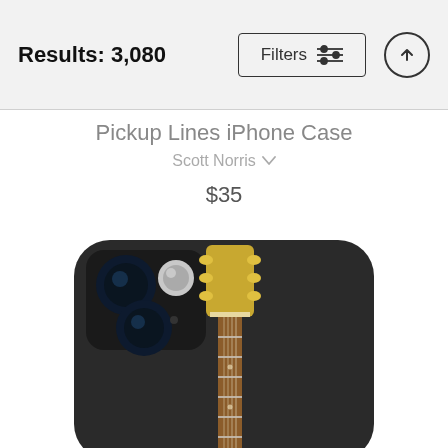Results: 3,080
Filters
Pickup Lines iPhone Case
Scott Norris
$35
[Figure (photo): iPhone 13 case with a guitar neck design printed on it, showing a Fender-style bass guitar headstock and neck against a black matte case background. The phone camera module is visible in the upper left area of the case.]